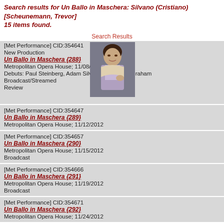Search results for Un Ballo in Maschera: Silvano (Cristiano) [Scheunemann, Trevor] 15 items found.
Search Results
[Figure (photo): Thumbnail photo of a female opera singer in costume]
[Met Performance] CID:354641
New Production
Un Ballo in Maschera {288}
Metropolitan Opera House; 11/08/2012
Debuts: Paul Steinberg, Adam Silverman, Maxine Braham
Broadcast/Streamed
Review
[Met Performance] CID:354647
Un Ballo in Maschera {289}
Metropolitan Opera House; 11/12/2012
[Met Performance] CID:354657
Un Ballo in Maschera {290}
Metropolitan Opera House; 11/15/2012
Broadcast
[Met Performance] CID:354666
Un Ballo in Maschera {291}
Metropolitan Opera House; 11/19/2012
Broadcast
[Met Performance] CID:354671
Un Ballo in Maschera {292}
Metropolitan Opera House; 11/24/2012